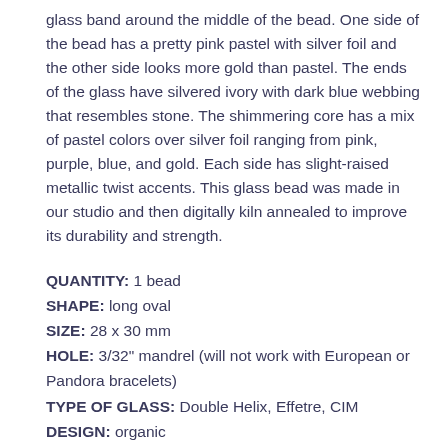glass band around the middle of the bead. One side of the bead has a pretty pink pastel with silver foil and the other side looks more gold than pastel. The ends of the glass have silvered ivory with dark blue webbing that resembles stone. The shimmering core has a mix of pastel colors over silver foil ranging from pink, purple, blue, and gold. Each side has slight-raised metallic twist accents. This glass bead was made in our studio and then digitally kiln annealed to improve its durability and strength.
QUANTITY: 1 bead
SHAPE: long oval
SIZE: 28 x 30 mm
HOLE: 3/32" mandrel (will not work with European or Pandora bracelets)
TYPE OF GLASS: Double Helix, Effetre, CIM
DESIGN: organic
BASE COLOR: blue, purple, blue, gold
ACCENT COLORS: ivory, silver, gray, black, dark blue, goldstone
KILN: digitally kiln annealed for strength.